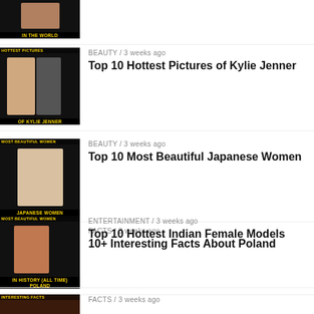[Figure (photo): Partial thumbnail at top - women in world article]
[Figure (photo): Thumbnail for Kylie Jenner article with text overlay]
BEAUTY / 3 weeks ago
Top 10 Hottest Pictures of Kylie Jenner
[Figure (photo): Thumbnail for Japanese Women article with text overlay]
BEAUTY / 3 weeks ago
Top 10 Most Beautiful Japanese Women
[Figure (photo): Thumbnail for Poland article with scenery]
FACTS / 3 weeks ago
10+ Interesting Facts About Poland
[Figure (photo): Thumbnail for Indian Female Models article]
ENTERTAINMENT / 3 weeks ago
Top 10 Hottest Indian Female Models
[Figure (photo): Partial thumbnail at bottom - interesting facts article]
FACTS / 3 weeks ago